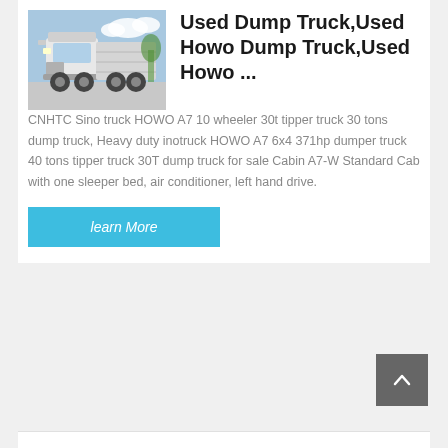[Figure (photo): White HOWO dump/tipper truck parked outdoors, side-front view, blue sky and trees in background]
Used Dump Truck,Used Howo Dump Truck,Used Howo ...
CNHTC Sino truck HOWO A7 10 wheeler 30t tipper truck 30 tons dump truck, Heavy duty inotruck HOWO A7 6x4 371hp dumper truck 40 tons tipper truck 30T dump truck for sale Cabin A7-W Standard Cab with one sleeper bed, air conditioner, left hand drive.
learn More